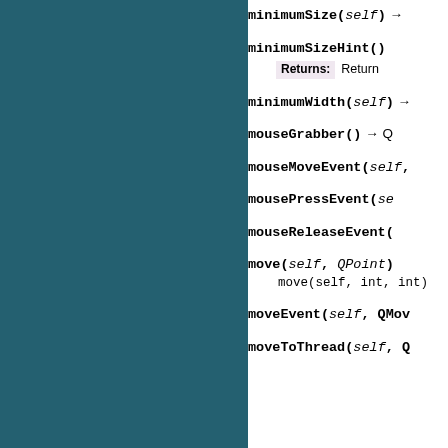minimumSize(self) →
minimumSizeHint()
Returns: Return
minimumWidth(self) →
mouseGrabber() → QW
mouseMoveEvent(self,
mousePressEvent(sel
mouseReleaseEvent(
move(self, QPoint)
move(self, int, int)
moveEvent(self, QMov
moveToThread(self, Q